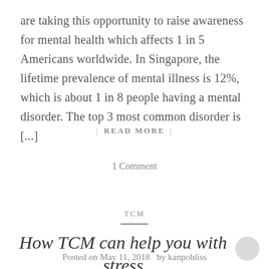are taking this opportunity to raise awareness for mental health which affects 1 in 5 Americans worldwide. In Singapore, the lifetime prevalence of mental illness is 12%, which is about 1 in 8 people having a mental disorder. The top 3 most common disorder is [...]
| READ MORE |
1 Comment
TCM
How TCM can help you with stress
Posted on May 11, 2018  by kanpobliss